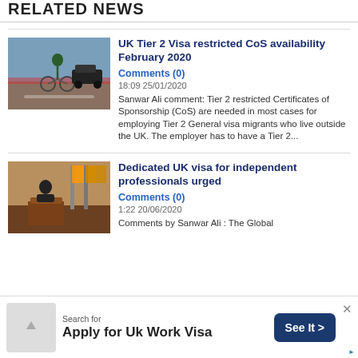RELATED NEWS
[Figure (photo): Person cycling on a street with cars in background]
UK Tier 2 Visa restricted CoS availability February 2020
Comments (0)
18:09  25/01/2020
Sanwar Ali comment: Tier 2 restricted Certificates of Sponsorship (CoS) are needed in most cases for employing Tier 2 General visa migrants who live outside the UK. The employer has to have a Tier 2...
[Figure (photo): Person speaking at a podium with flags in background]
Dedicated UK visa for independent professionals urged
Comments (0)
1:22  20/06/2020
Comments by Sanwar Ali : The Global
Search for Apply for Uk Work Visa  See It >